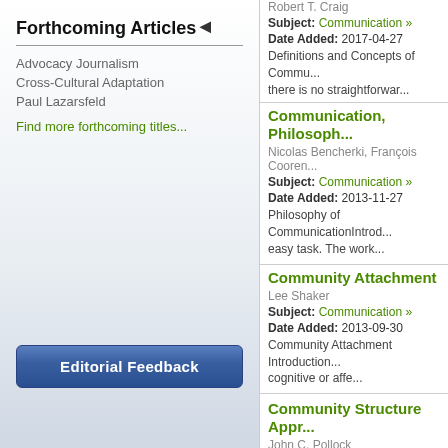Forthcoming Articles
Advocacy Journalism
Cross-Cultural Adaptation
Paul Lazarsfeld
Find more forthcoming titles...
Editorial Feedback
Robert T. Craig
Subject: Communication »
Date Added: 2017-04-27
Definitions and Concepts of Commu... there is no straightforwar...
Communication, Philosoph...
Nicolas Bencherki, François Cooren...
Subject: Communication »
Date Added: 2013-11-27
Philosophy of CommunicationIntrod... easy task. The work...
Community Attachment
Lee Shaker
Subject: Communication »
Date Added: 2013-09-30
Community Attachment Introduction... cognitive or affe...
Community Structure Appr...
John C. Pollock